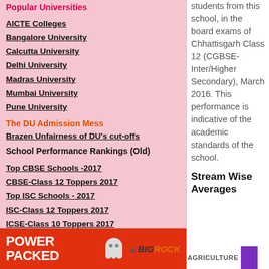Popular Universities
AICTE Colleges
Bangalore University
Calcutta University
Delhi University
Madras University
Mumbai University
Pune University
The DU Admission Mess
Brazen Unfairness of DU's cut-offs
School Performance Rankings (Old)
Top CBSE Schools -2017
CBSE-Class 12 Toppers 2017
Top ISC Schools - 2017
ISC-Class 12 Toppers 2017
ICSE-Class 10 Toppers 2017
students from this school, in the board exams of Chhattisgarh Class 12 (CGBSE-Inter/Higher Secondary), March 2016. This performance is indicative of the academic standards of the school.
Stream Wise Averages
[Figure (infographic): BigRock power packed banner advertisement in red]
AGRICULTURE